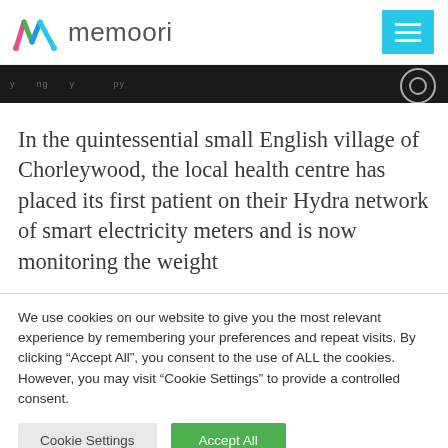memoori
In the quintessential small English village of Chorleywood, the local health centre has placed its first patient on their Hydra network of smart electricity meters and is now monitoring the weight
We use cookies on our website to give you the most relevant experience by remembering your preferences and repeat visits. By clicking “Accept All”, you consent to the use of ALL the cookies. However, you may visit “Cookie Settings” to provide a controlled consent.